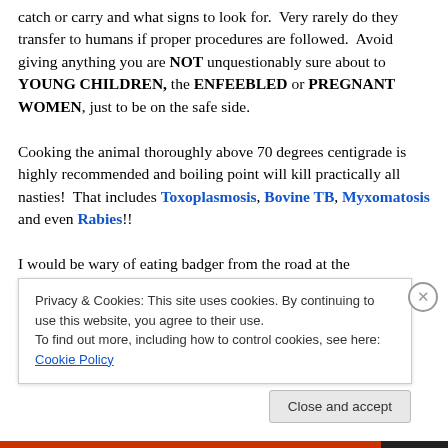catch or carry and what signs to look for.  Very rarely do they transfer to humans if proper procedures are followed.  Avoid giving anything you are NOT unquestionably sure about to YOUNG CHILDREN, the ENFEEBLED or PREGNANT WOMEN, just to be on the safe side.

Cooking the animal thoroughly above 70 degrees centigrade is highly recommended and boiling point will kill practically all nasties!  That includes Toxoplasmosis, Bovine TB, Myxomatosis and even Rabies!!

I would be wary of eating badger from the road at the
Privacy & Cookies: This site uses cookies. By continuing to use this website, you agree to their use.
To find out more, including how to control cookies, see here: Cookie Policy
Close and accept